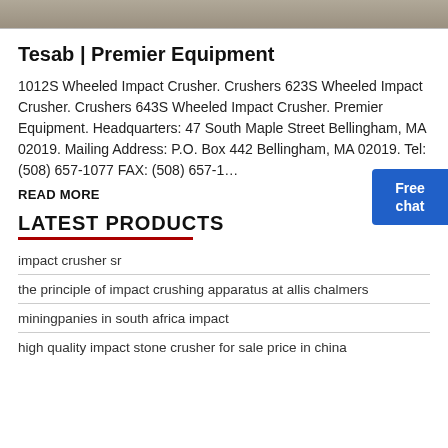[Figure (photo): Top banner image showing crushed stone/gravel machinery background]
Tesab | Premier Equipment
1012S Wheeled Impact Crusher. Crushers 623S Wheeled Impact Crusher. Crushers 643S Wheeled Impact Crusher. Premier Equipment. Headquarters: 47 South Maple Street Bellingham, MA 02019. Mailing Address: P.O. Box 442 Bellingham, MA 02019. Tel: (508) 657-1077 FAX: (508) 657-1...
READ MORE
LATEST PRODUCTS
impact crusher sr
the principle of impact crushing apparatus at allis chalmers
miningpanies in south africa impact
high quality impact stone crusher for sale price in china